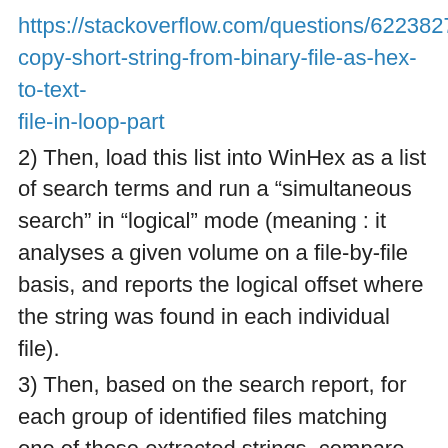https://stackoverflow.com/questions/62238275/quic copy-short-string-from-binary-file-as-hex-to-text-file-in-loop-part
2) Then, load this list into WinHex as a list of search terms and run a “simultaneous search” in “logical” mode (meaning : it analyses a given volume on a file-by-file basis, and reports the logical offset where the string was found in each individual file).
3) Then, based on the search report, for each group of identified files matching one of these extracted strings, compare checksums between the whole file fragment and the corresponding segment of the bigger file (I do this with Powershell using a small CLI tool called “dsfo” — it could be done with Powershell alone as this article